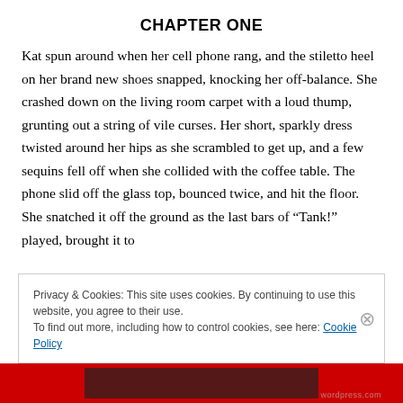CHAPTER ONE
Kat spun around when her cell phone rang, and the stiletto heel on her brand new shoes snapped, knocking her off-balance. She crashed down on the living room carpet with a loud thump, grunting out a string of vile curses. Her short, sparkly dress twisted around her hips as she scrambled to get up, and a few sequins fell off when she collided with the coffee table. The phone slid off the glass top, bounced twice, and hit the floor. She snatched it off the ground as the last bars of “Tank!” played, brought it to
Privacy & Cookies: This site uses cookies. By continuing to use this website, you agree to their use.
To find out more, including how to control cookies, see here: Cookie Policy
Close and accept